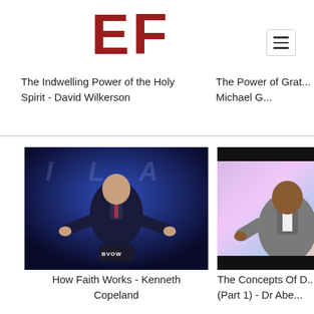[Figure (logo): EF logo in dark red/maroon bold letters]
[Figure (other): Hamburger menu button icon top right]
The Indwelling Power of the Holy Spirit - David Wilkerson
The Power of Grat... Michael G...
[Figure (photo): Kenneth Copeland preaching at BVOW podium, arms outstretched, dark suit, blue stage background]
How Faith Works - Kenneth Copeland
[Figure (photo): Man in gray suit speaking on colorful pastel stage background, partially cropped]
The Concepts Of D... (Part 1) - Dr Abe...